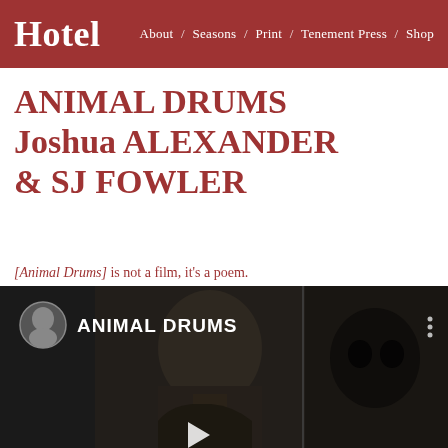Hotel  About / Seasons / Print / Tenement Press / Shop
ANIMAL DRUMS Joshua ALEXANDER & SJ FOWLER
[Animal Drums] is not a film, it's a poem. Evidence. Dialogue. Witness. A mediated anti-poem for a metastasising city.
[Figure (screenshot): Video thumbnail showing a man's profile/head in center and a dark masked figure on the right, with 'ANIMAL DRUMS' label and avatar circle in top left, three-dot menu top right, and a play button at the bottom center.]